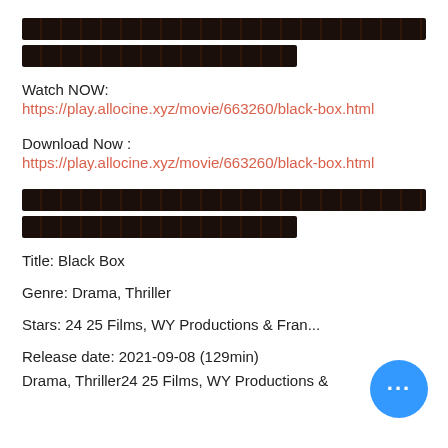[Figure (other): Two redacted/censored black bars obscuring text]
Watch NOW:
https://play.allocine.xyz/movie/663260/black-box.html
Download Now :
https://play.allocine.xyz/movie/663260/black-box.html
[Figure (other): Two redacted/censored black bars obscuring text]
Title: Black Box
Genre: Drama, Thriller
Stars: 24 25 Films, WY Productions & Fran...
Release date: 2021-09-08 (129min)
Drama, Thriller24 25 Films, WY Productions &